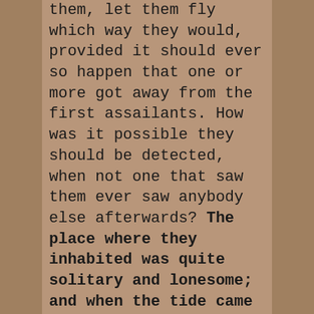them, let them fly which way they would, provided it should ever so happen that one or more got away from the first assailants. How was it possible they should be detected, when not one that saw them ever saw anybody else afterwards? The place where they inhabited was quite solitary and lonesome; and when the tide came up, the water went for near two hundred yards into their subterraneous habitation, which reached almost a mile underground; so that when people, who had been sent armed to search all the places about had passed by the mouth of their cave, they had never taken any notice of it, not supposing that anything human would